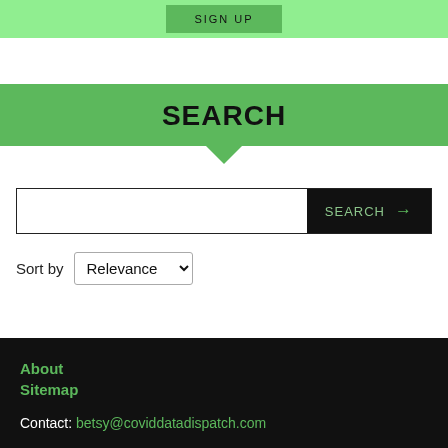SIGN UP
SEARCH
[Figure (screenshot): Search input box with black SEARCH button and arrow]
Sort by Relevance
About
Sitemap
Contact: betsy@coviddatadispatch.com